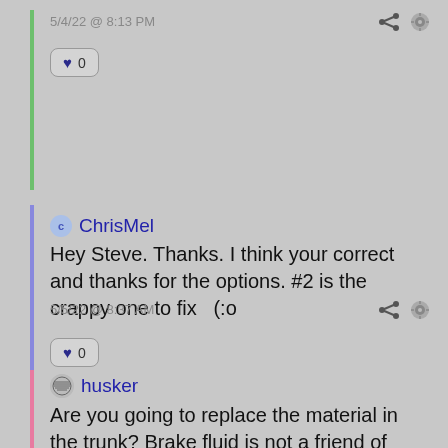5/4/22 @ 8:13 PM
♥ 0
ChrisMel
Hey Steve. Thanks. I think your correct and thanks for the options. #2 is the crappy one to fix  (:o
5/5/22 @ 8:37 AM
♥ 0
husker
Are you going to replace the material in the trunk? Brake fluid is not a friend of paint. You may be able